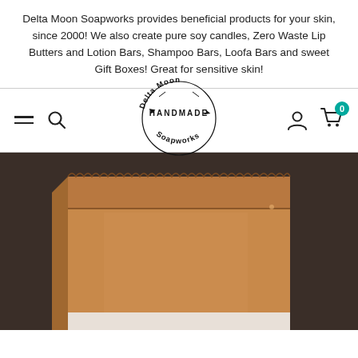Delta Moon Soapworks provides beneficial products for your skin, since 2000! We also create pure soy candles, Zero Waste Lip Butters and Lotion Bars, Shampoo Bars, Loofa Bars and sweet Gift Boxes! Great for sensitive skin!
[Figure (logo): Delta Moon Handmade Soapworks circular logo with text arranged in a circle and birds]
[Figure (photo): Close-up photo of an open corrugated cardboard shipping box, brown kraft cardboard, viewed from above and slightly angled]